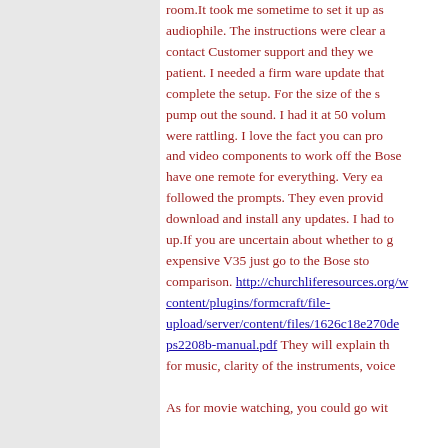room.It took me sometime to set it up as audiophile. The instructions were clear and contact Customer support and they were patient. I needed a firm ware update that complete the setup. For the size of the s pump out the sound. I had it at 50 volum were rattling. I love the fact you can pro and video components to work off the Bose have one remote for everything. Very ea followed the prompts. They even provid download and install any updates. I had to up.If you are uncertain about whether to g expensive V35 just go to the Bose sto comparison. http://churchliferesources.org/w content/plugins/formcraft/file-upload/server/content/files/1626c18e270de ps2208b-manual.pdf They will explain th for music, clarity of the instruments, voice As for movie watching, you could go with